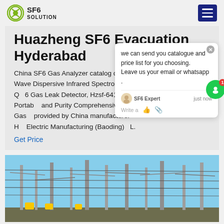SF6 SOLUTION
Huazheng SF6 Evacuation Hyderabad
China SF6 Gas Analyzer catalog of Double Wave Dispersive Infrared Spectrometer Q...6 Gas Leak Detector, Hzsf-641 Portab... and Purity Comprehensive Sf6 Gas... provided by China manufacturer - H... Electric Manufacturing (Baoding)...L.
Get Price
[Figure (photo): Electrical substation with high-voltage transmission towers and power lines against a blue sky]